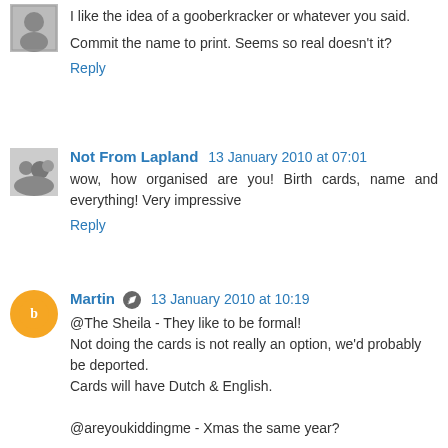I like the idea of a gooberkracker or whatever you said.
Commit the name to print. Seems so real doesn't it?
Reply
Not From Lapland  13 January 2010 at 07:01
wow, how organised are you! Birth cards, name and everything! Very impressive
Reply
Martin  13 January 2010 at 10:19
@The Sheila - They like to be formal!
Not doing the cards is not really an option, we'd probably be deported.
Cards will have Dutch & English.

@areyoukiddingme - Xmas the same year?